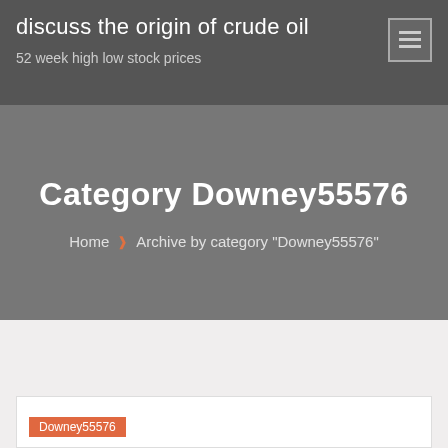discuss the origin of crude oil
52 week high low stock prices
Category Downey55576
Home › Archive by category "Downey55576"
Downey55576